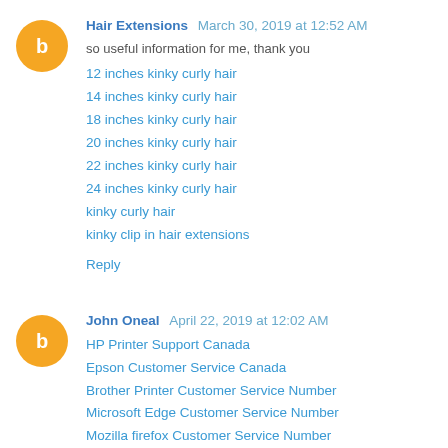Hair Extensions  March 30, 2019 at 12:52 AM
so useful information for me, thank you
12 inches kinky curly hair
14 inches kinky curly hair
18 inches kinky curly hair
20 inches kinky curly hair
22 inches kinky curly hair
24 inches kinky curly hair
kinky curly hair
kinky clip in hair extensions
Reply
John Oneal  April 22, 2019 at 12:02 AM
HP Printer Support Canada
Epson Customer Service Canada
Brother Printer Customer Service Number
Microsoft Edge Customer Service Number
Mozilla firefox Customer Service Number